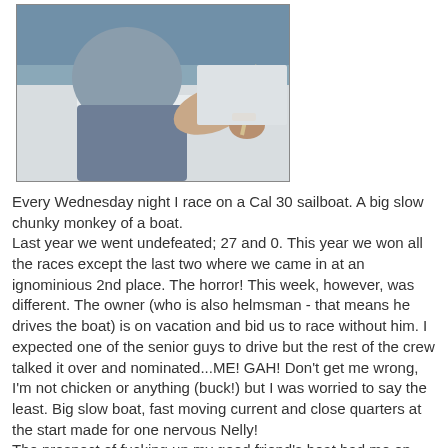[Figure (photo): Close-up photo of a person in a blue-grey shirt and jeans sitting on a white sailboat, gripping a line/rope, with water visible in the background.]
Every Wednesday night I race on a Cal 30 sailboat. A big slow chunky monkey of a boat.
Last year we went undefeated; 27 and 0. This year we won all the races except the last two where we came in at an ignominious 2nd place. The horror! This week, however, was different. The owner (who is also helmsman - that means he drives the boat) is on vacation and bid us to race without him. I expected one of the senior guys to drive but the rest of the crew talked it over and nominated...ME! GAH! Don't get me wrong, I'm not chicken or anything (buck!) but I was worried to say the least. Big slow boat, fast moving current and close quarters at the start made for one nervous Nelly! The prospect of fucking up my good friend's boat had me on